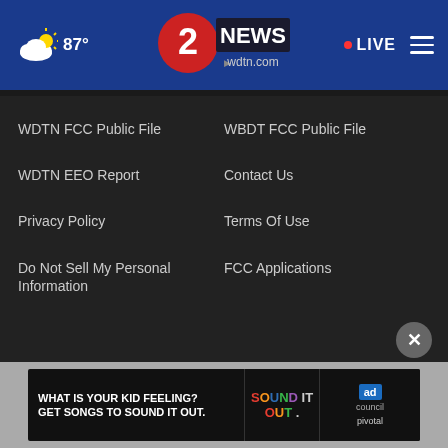87° LIVE — wdtn.com 2 NEWS
WDTN FCC Public File
WBDT FCC Public File
WDTN EEO Report
Contact Us
Privacy Policy
Terms Of Use
Do Not Sell My Personal Information
FCC Applications
Public File Assistance Contact
The Hill
NewsNation
BestRev...
[Figure (infographic): Ad banner: WHAT IS YOUR KID FEELING? GET SONGS TO SOUND IT OUT. — ad council / pivotal]